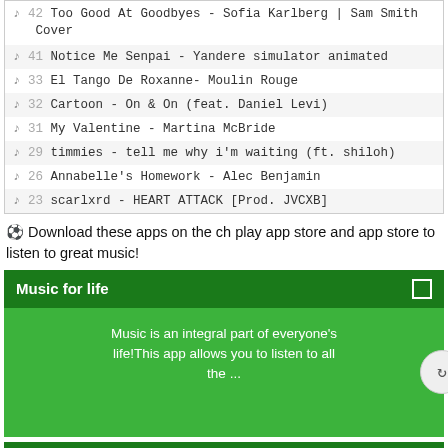♪ 42 Too Good At Goodbyes - Sofia Karlberg | Sam Smith Cover
♪ 41 Notice Me Senpai - Yandere simulator animated
♪ 33 El Tango De Roxanne- Moulin Rouge
♪ 32 Cartoon - On & On (feat. Daniel Levi)
♪ 31 My Valentine - Martina McBride
♪ 29 timmies - tell me why i'm waiting (ft. shiloh)
♪ 26 Annabelle's Homework - Alec Benjamin
♪ 23 scarlxrd - HEART ATTACK [Prod. JVCXB]
⊙ Download these apps on the ch play app store and app store to listen to great music!
Music for life
Music is an integral part of everyone's life!This app allows you to listen to all the ...
Cute virtual assistant